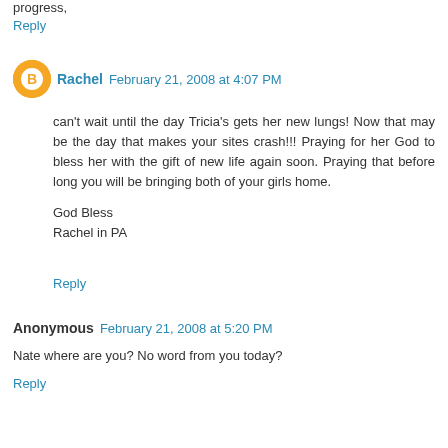progress,
Reply
Rachel  February 21, 2008 at 4:07 PM
can't wait until the day Tricia's gets her new lungs! Now that may be the day that makes your sites crash!!! Praying for her God to bless her with the gift of new life again soon. Praying that before long you will be bringing both of your girls home.

God Bless
Rachel in PA
Reply
Anonymous  February 21, 2008 at 5:20 PM
Nate where are you? No word from you today?
Reply